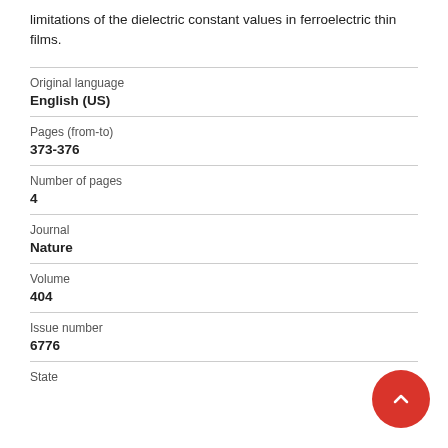limitations of the dielectric constant values in ferroelectric thin films.
| Original language | English (US) |
| Pages (from-to) | 373-376 |
| Number of pages | 4 |
| Journal | Nature |
| Volume | 404 |
| Issue number | 6776 |
| State |  |